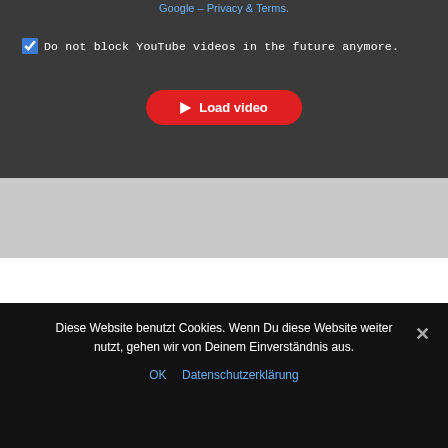Google – Privacy & Terms.
Do not block YouTube videos in the future anymore.
[Figure (screenshot): A red rounded button with a play icon and the text 'Load video']
[Figure (screenshot): Light gray placeholder band for embedded content]
[Figure (screenshot): Light gray placeholder band for a second embedded video section]
To protect your personal data, your connection to YouTube has been blocked.
Diese Website benutzt Cookies. Wenn Du diese Website weiter nutzt, gehen wir von Deinem Einverständnis aus.
OK   Datenschutzerklärung